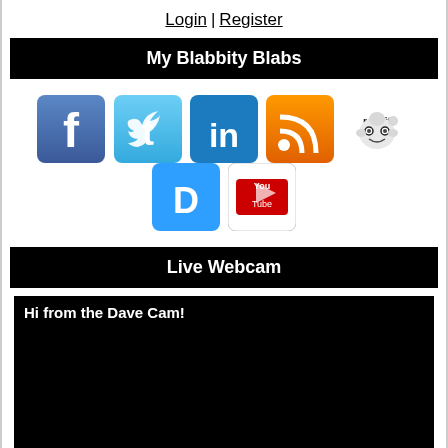Login | Register
My Blabbity Blabs
[Figure (infographic): Row of social media icons: Facebook, Twitter, LinkedIn, RSS, Reddit, Disqus, YouTube]
Live Webcam
[Figure (screenshot): Black webcam frame with white bold text reading 'Hi from the Dave Cam!']